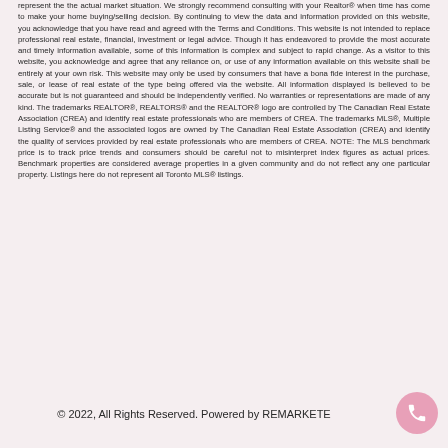represent the the actual market situation. We strongly recommend consulting with your Realtor® when time has come to make your home buying/selling decision. By continuing to view the data and information provided on this website, you acknowledge that you have read and agreed with the Terms and Conditions. This website is not intended to replace professional real estate, financial, investment or legal advice. Though it has endeavored to provide the most accurate and timely information available, some of this information is complex and subject to rapid change. As a visitor to this website, you acknowledge and agree that any reliance on, or use of any information available on this website shall be entirely at your own risk. This website may only be used by consumers that have a bona fide interest in the purchase, sale, or lease of real estate of the type being offered via the website. All information displayed is believed to be accurate but is not guaranteed and should be independently verified. No warranties or representations are made of any kind. The trademarks REALTOR®, REALTORS® and the REALTOR® logo are controlled by The Canadian Real Estate Association (CREA) and identify real estate professionals who are members of CREA. The trademarks MLS®, Multiple Listing Service® and the associated logos are owned by The Canadian Real Estate Association (CREA) and identify the quality of services provided by real estate professionals who are members of CREA. NOTE: The MLS benchmark price is to track price trends and consumers should be careful not to misinterpret index figures as actual prices. Benchmark properties are considered average properties in a given community and do not reflect any one particular property. Listings here do not represent all Toronto MLS® listings.
© 2022, All Rights Reserved. Powered by REMARKETE